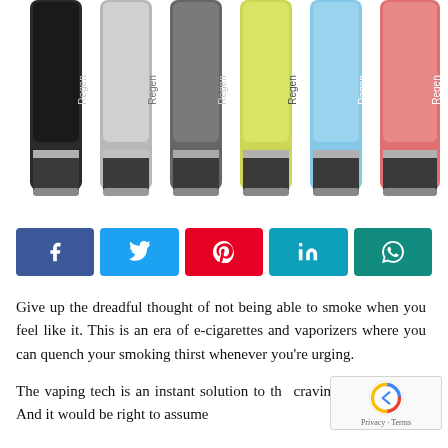[Figure (photo): Six e-cigarette / vaporizer devices labeled 'Regen' shown in a row, in colors: black, silver, dark gray, yellow-green, light blue, and pink/coral. Each device has a metallic tip and dark mouthpiece section at the bottom.]
[Figure (infographic): Social media share buttons row: Facebook (dark blue), Twitter (light blue), Pinterest (red), LinkedIn (cyan/teal), WhatsApp (dark green)]
Give up the dreadful thought of not being able to smoke when you feel like it. This is an era of e-cigarettes and vaporizers where you can quench your smoking thirst whenever you're urging.
The vaping tech is an instant solution to the cravings of a smoker. And it would be right to assume